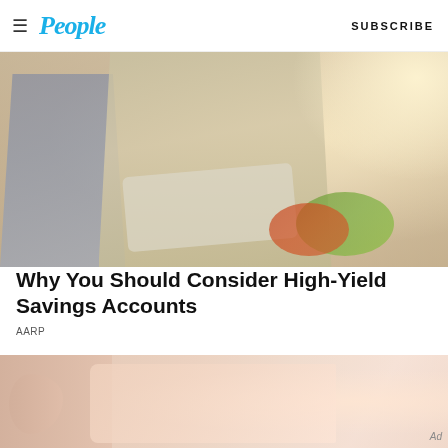People | SUBSCRIBE
[Figure (photo): Two people looking at a tablet together, smiling, in a warm indoor setting with fruit visible on the table]
Why You Should Consider High-Yield Savings Accounts
AARP
[Figure (photo): Close-up photo of skin, likely a medical or beauty related advertisement. Ad label visible.]